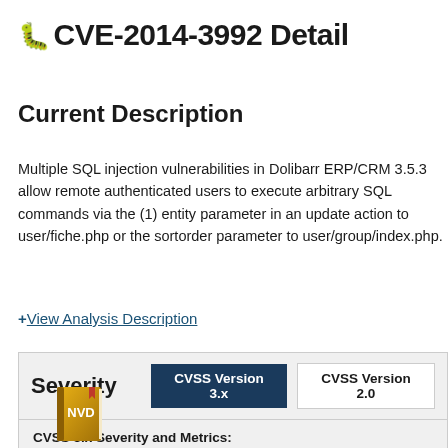CVE-2014-3992 Detail
Current Description
Multiple SQL injection vulnerabilities in Dolibarr ERP/CRM 3.5.3 allow remote authenticated users to execute arbitrary SQL commands via the (1) entity parameter in an update action to user/fiche.php or the sortorder parameter to user/group/index.php.
+View Analysis Description
| Severity | CVSS Version 3.x | CVSS Version 2.0 |
| --- | --- | --- |
CVSS 3.x Severity and Metrics:
[Figure (logo): NVD book logo icon in gold/yellow color]